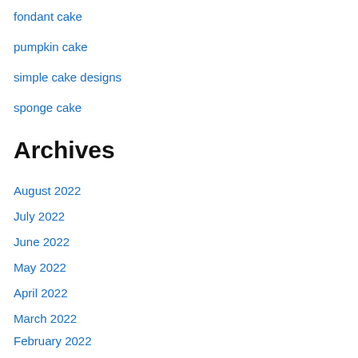fondant cake
pumpkin cake
simple cake designs
sponge cake
Archives
August 2022
July 2022
June 2022
May 2022
April 2022
March 2022
February 2022
January 2022